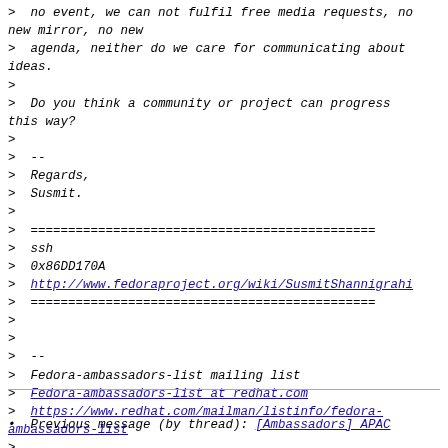> no event, we can not fulfil free media requests, no new mirror, no new
> agenda, neither do we care for communicating about ideas.
>
> Do you think a community or project can progress this way?
>
> --
> Regards,
> Susmit.
>
> ==============================================
> ssh
> 0x86DD170A
> http://www.fedoraproject.org/wiki/SusmitShannigrahi
> ==============================================
>
>
> --
> Fedora-ambassadors-list mailing list
> Fedora-ambassadors-list at redhat.com
> https://www.redhat.com/mailman/listinfo/fedora-ambassadors-list
>
• Previous message (by thread): [Ambassadors] APAC